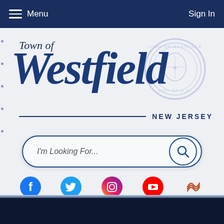Menu  Sign In
[Figure (logo): Town of Westfield New Jersey official logo with script Westfield text, town seal watermark, and NEW JERSEY text with horizontal rule]
I'm Looking For...
[Figure (other): Social media icons row: Facebook, Twitter, Instagram, YouTube, and one more icon]